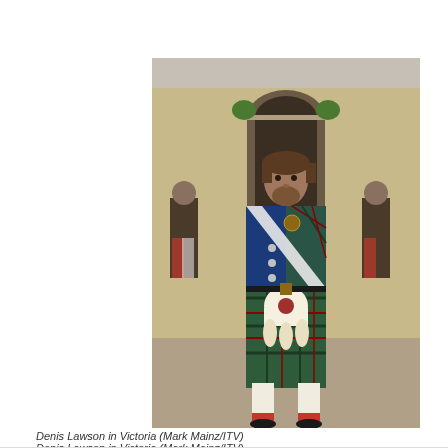[Figure (photo): Denis Lawson in full Scottish Highland dress (tartan kilt, blue jacket with white sash, sporran) standing in front of a stone archway entrance, with other figures in Highland dress visible in the background.]
Denis Lawson in Victoria (Mark Mainz/ITV)